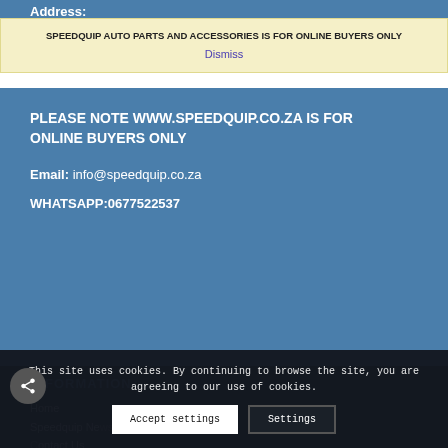Address:
SPEEDQUIP AUTO PARTS AND ACCESSORIES IS FOR ONLINE BUYERS ONLY
Dismiss
PLEASE NOTE WWW.SPEEDQUIP.CO.ZA IS FOR ONLINE BUYERS ONLY

Email: info@speedquip.co.za

WHATSAPP:0677522537
INFORMATION
Home
Speedquip News
Contact Us
My Account
This site uses cookies. By continuing to browse the site, you are agreeing to our use of cookies.